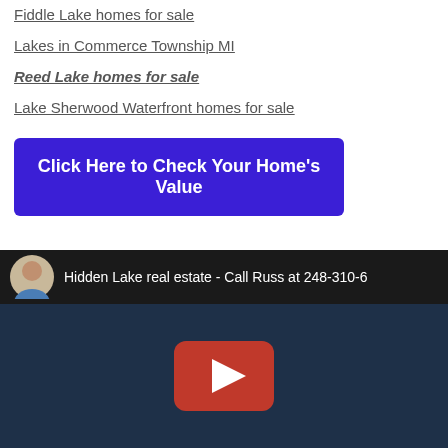Fiddle Lake homes for sale
Lakes in Commerce Township MI
Reed Lake homes for sale
Lake Sherwood Waterfront homes for sale
Click Here to Check Your Home's Value
[Figure (screenshot): YouTube video embed showing 'Hidden Lake real estate - Call Russ at 248-310-6...' with a man's avatar, dark background, and red YouTube play button]